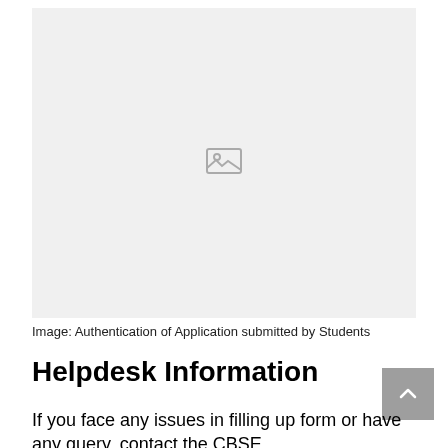[Figure (screenshot): Broken/placeholder image box with gray background and image icon in center, representing Authentication of Application submitted by Students]
Image: Authentication of Application submitted by Students
Helpdesk Information
If you face any issues in filling up form or have any query, contact the CBSE...